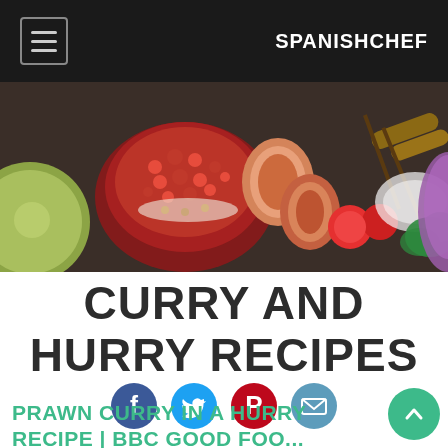SPANISHCHEF
[Figure (photo): Hero image of colorful food including pomegranate, figs, tomatoes, grilled fish on skewers, greens, and purple sauce on a dark background]
CURRY AND HURRY RECIPES
[Figure (infographic): Row of four social media icon buttons: Facebook (blue circle with F), Twitter (light blue circle with bird), Pinterest (dark red circle with P), Email (blue-grey circle with envelope)]
PRAWN CURRY IN A HURRY RECIPE | BBC GOOD FOO...